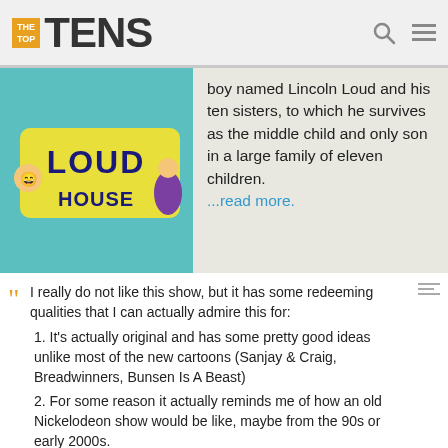THE TOP TENS
[Figure (illustration): The Loud House logo/banner with cartoon characters on a teal background]
boy named Lincoln Loud and his ten sisters, to which he survives as the middle child and only son in a large family of eleven children. ...read more.
“ I really do not like this show, but it has some redeeming qualities that I can actually admire this for: 1. It's actually original and has some pretty good ideas unlike most of the new cartoons (Sanjay & Craig, Breadwinners, Bunsen Is A Beast) 2. For some reason it actually reminds me of how an old Nickelodeon show would be like, maybe from the 90s or early 2000s. 3. The characters actually learn from their mistakes and make up for it.
“ I absolutely despise this show and the fans are even worse they force you to like the show well guess what